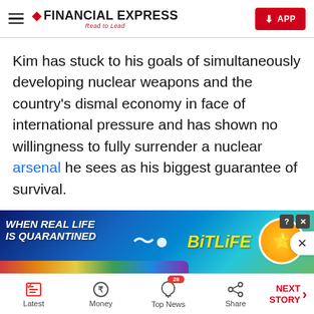FINANCIAL EXPRESS — Read to Lead
Kim has stuck to his goals of simultaneously developing nuclear weapons and the country's dismal economy in face of international pressure and has shown no willingness to fully surrender a nuclear arsenal he sees as his biggest guarantee of survival.
North Korea has conducted 13 rounds of weapons tests this year, including its first flight test of an intercontinental ballistic missile since 2017. There are
[Figure (screenshot): BitLife advertisement banner: rainbow colors background with text 'WHEN REAL LIFE IS QUARANTINED' and 'BitLife' logo with animated character]
Latest | Money | Top News (28) | Share | NEXT STORY